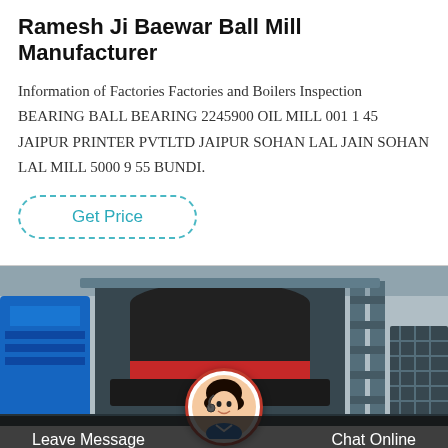Ramesh Ji Baewar Ball Mill Manufacturer
Information of Factories Factories and Boilers Inspection BEARING BALL BEARING 2245900 OIL MILL 001 1 45 JAIPUR PRINTER PVTLTD JAIPUR SOHAN LAL JAIN SOHAN LAL MILL 5000 9 55 BUNDI.
Get Price
[Figure (photo): Industrial ball mill / cone crusher machine in a factory setting, large black cylindrical machinery with red band, blue equipment in background. Overlaid with a customer service representative avatar circle at the bottom center, and a dark bottom bar with 'Leave Message' on the left and 'Chat Online' on the right.]